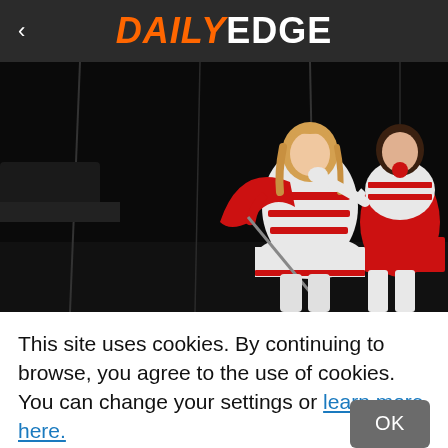< DAILYEDGE
[Figure (photo): Two performers on a dark stage wearing white marching band uniforms with red stripes and red capes/accents. The central figure is a blonde woman in a white and red military-style costume holding a baton, with a red cape flowing behind her. Another performer in a similar red and white uniform is visible on the right side.]
This site uses cookies. By continuing to browse, you agree to the use of cookies. You can change your settings or learn more here.